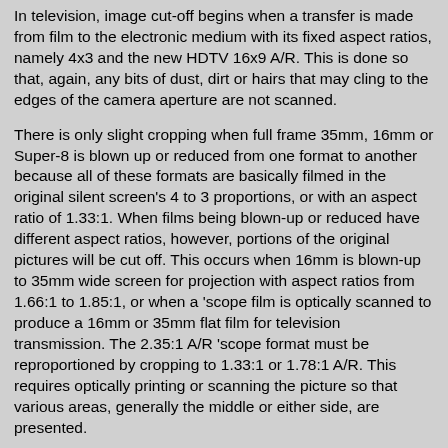In television, image cut-off begins when a transfer is made from film to the electronic medium with its fixed aspect ratios, namely 4x3 and the new HDTV 16x9 A/R. This is done so that, again, any bits of dust, dirt or hairs that may cling to the edges of the camera aperture are not scanned.
There is only slight cropping when full frame 35mm, 16mm or Super-8 is blown up or reduced from one format to another because all of these formats are basically filmed in the original silent screen's 4 to 3 proportions, or with an aspect ratio of 1.33:1. When films being blown-up or reduced have different aspect ratios, however, portions of the original pictures will be cut off. This occurs when 16mm is blown-up to 35mm wide screen for projection with aspect ratios from 1.66:1 to 1.85:1, or when a 'scope film is optically scanned to produce a 16mm or 35mm flat film for television transmission. The 2.35:1 A/R 'scope format must be reproportioned by cropping to 1.33:1 or 1.78:1 A/R. This requires optically printing or scanning the picture so that various areas, generally the middle or either side, are presented.
Image cut-off first reared its ugly head on February 15, 1932 when Academy Aperture was introduced to provided an industry standard for filming sound pictures. The full frame silent aperture had to be trimmed on one side to make room